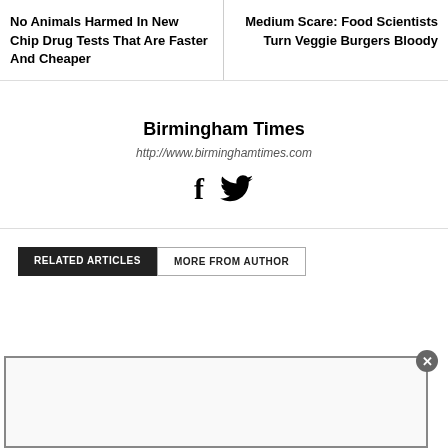No Animals Harmed In New Chip Drug Tests That Are Faster And Cheaper
Medium Scare: Food Scientists Turn Veggie Burgers Bloody
Birmingham Times
http://www.birminghamtimes.com
RELATED ARTICLES
MORE FROM AUTHOR